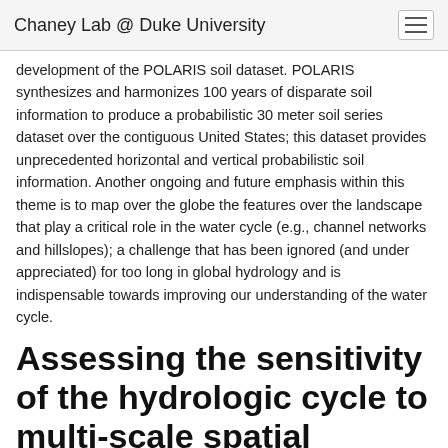Chaney Lab @ Duke University
development of the POLARIS soil dataset. POLARIS synthesizes and harmonizes 100 years of disparate soil information to produce a probabilistic 30 meter soil series dataset over the contiguous United States; this dataset provides unprecedented horizontal and vertical probabilistic soil information. Another ongoing and future emphasis within this theme is to map over the globe the features over the landscape that play a critical role in the water cycle (e.g., channel networks and hillslopes); a challenge that has been ignored (and under appreciated) for too long in global hydrology and is indispensable towards improving our understanding of the water cycle.
Assessing the sensitivity of the hydrologic cycle to multi-scale spatial